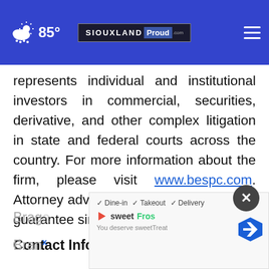[Figure (screenshot): Website navigation bar for SiouxlandProud.com showing weather icon, 85° temperature, SiouxlandProud logo, and hamburger menu]
represents individual and institutional investors in commercial, securities, derivative, and other complex litigation in state and federal courts across the country. For more information about the firm, please visit www.bespc.com. Attorney advertising. Prior results do not guarantee similar outcomes.
Contact Information:
Braga...
Branc...